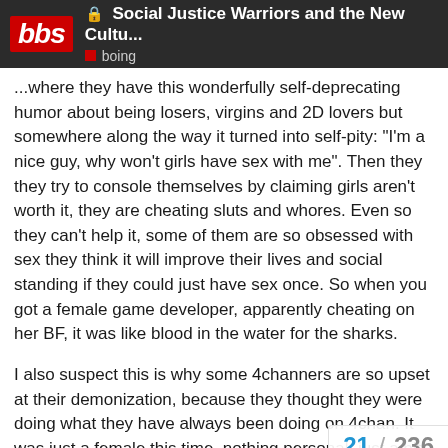Social Justice Warriors and the New Cultu... boing
...somewhere they have this wonderfully self-deprecating humor about being losers, virgins and 2D lovers but somewhere along the way it turned into self-pity: “I’m a nice guy, why won't girls have sex with me”. Then they they try to console themselves by claiming girls aren't worth it, they are cheating sluts and whores. Even so they can't help it, some of them are so obsessed with sex they think it will improve their lives and social standing if they could just have sex once. So when you got a female game developer, apparently cheating on her BF, it was like blood in the water for the sharks.
I also suspect this is why some 4channers are so upset at their demonization, because they thought they were doing what they have always been doing on 4chan. It was just a female this time, nothing personal, just a bit of fun. This kind of fun is seen as being part of the community they like, which is probably why some are so keen to defend the gamer gate hashtag. They’re just sufficiently confused that they don't realise they're defending the tribe, not a tag or a cause. T... Gamer Gate but they'll try because convin...
21 / 236